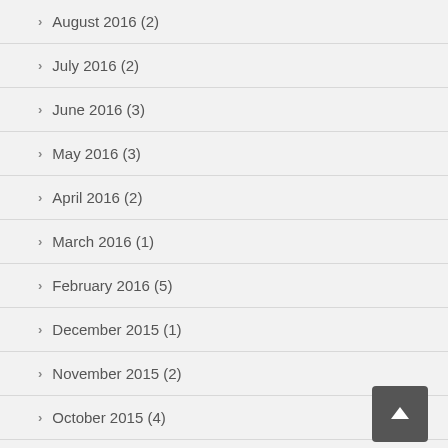August 2016 (2)
July 2016 (2)
June 2016 (3)
May 2016 (3)
April 2016 (2)
March 2016 (1)
February 2016 (5)
December 2015 (1)
November 2015 (2)
October 2015 (4)
September 2015 (1)